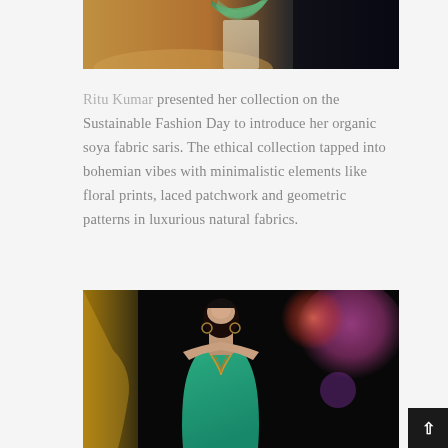[Figure (photo): Partial photo of a model on a runway wearing a colorful garment, cropped at the top of the page. Warm orange/golden background on left, dark background on right.]
Ritu Kumar presented her collection on the Sustainable Fashion Day to introduce her organic soya fabric saris. The ethical collection tapped into bohemian vibes with minimalistic elements like floral prints, laced patchwork and geometric patterns in luxurious natural fabrics.
[Figure (photo): Photo of a female model wearing a teal/green embroidered dress with a deep V-neckline and hoop earrings, on a dark runway with colorful blurred lights in the background.]